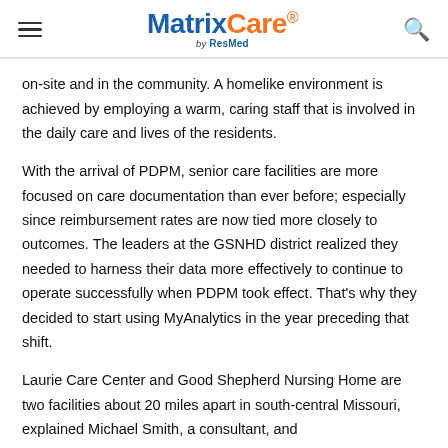MatrixCare by ResMed
on-site and in the community. A homelike environment is achieved by employing a warm, caring staff that is involved in the daily care and lives of the residents.
With the arrival of PDPM, senior care facilities are more focused on care documentation than ever before; especially since reimbursement rates are now tied more closely to outcomes. The leaders at the GSNHD district realized they needed to harness their data more effectively to continue to operate successfully when PDPM took effect. That's why they decided to start using MyAnalytics in the year preceding that shift.
Laurie Care Center and Good Shepherd Nursing Home are two facilities about 20 miles apart in south-central Missouri, explained Michael Smith, a consultant, and